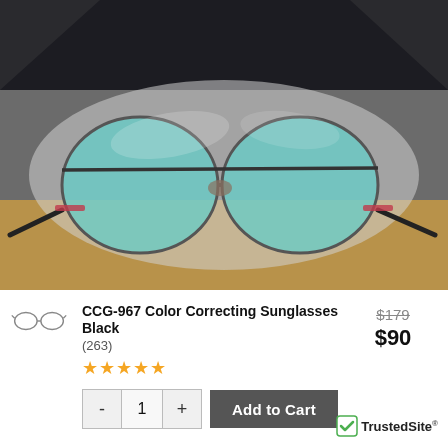[Figure (photo): Photo of CCG-967 Color Correcting Sunglasses with teal/blue round lenses and dark frames, placed in a clear plastic case on a wooden surface, with a black leather item in the background.]
[Figure (photo): Small thumbnail icon of eyeglasses frames (product thumbnail image)]
CCG-967 Color Correcting Sunglasses Black
(263)
★★★★★
$179
$90
- 1 + Add to Cart
TrustedSite